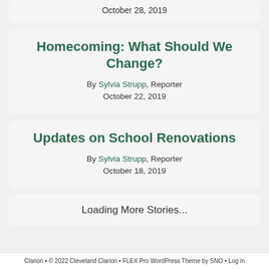October 28, 2019
Homecoming: What Should We Change?
By Sylvia Strupp, Reporter
October 22, 2019
Updates on School Renovations
By Sylvia Strupp, Reporter
October 18, 2019
Loading More Stories...
Clarion • © 2022 Cleveland Clarion • FLEX Pro WordPress Theme by SNO • Log in